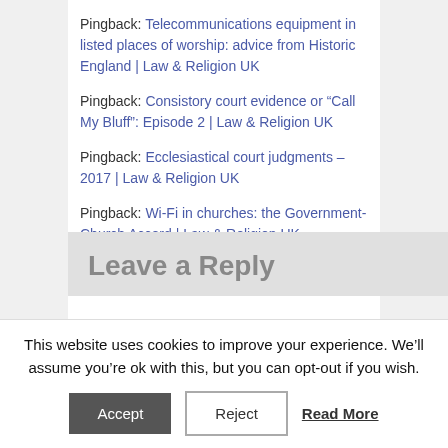Pingback: Telecommunications equipment in listed places of worship: advice from Historic England | Law & Religion UK
Pingback: Consistory court evidence or “Call My Bluff”: Episode 2 | Law & Religion UK
Pingback: Ecclesiastical court judgments – 2017 | Law & Religion UK
Pingback: Wi-Fi in churches: the Government-Church Accord | Law & Religion UK
Leave a Reply
This website uses cookies to improve your experience. We’ll assume you’re ok with this, but you can opt-out if you wish.